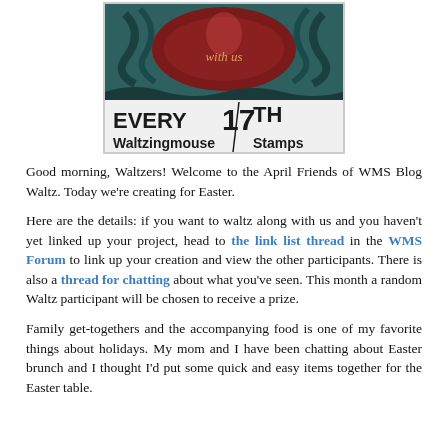[Figure (logo): Waltzingmouse Stamps 'Every 17th' blog waltz banner with decorative dark teal/red illustration and text 'with us EVERY 17TH Waltzingmouse Stamps']
Good morning, Waltzers! Welcome to the April Friends of WMS Blog Waltz. Today we're creating for Easter.
Here are the details: if you want to waltz along with us and you haven't yet linked up your project, head to the link list thread in the WMS Forum to link up your creation and view the other participants. There is also a thread for chatting about what you've seen. This month a random Waltz participant will be chosen to receive a prize.
Family get-togethers and the accompanying food is one of my favorite things about holidays. My mom and I have been chatting about Easter brunch and I thought I'd put some quick and easy items together for the Easter table.